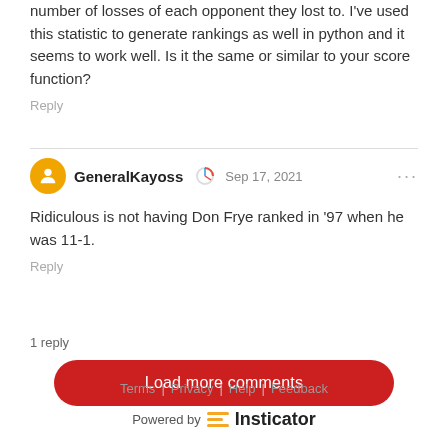number of losses of each opponent they lost to. I've used this statistic to generate rankings as well in python and it seems to work well. Is it the same or similar to your score function?
Reply
GeneralKayoss  Sep 17, 2021
Ridiculous is not having Don Frye ranked in '97 when he was 11-1.
Reply
1 reply
Load more comments
Terms | Privacy | Help | Feedback
Powered by Insticator